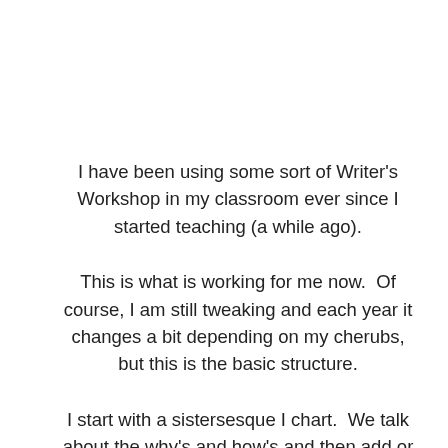I have been using some sort of Writer's Workshop in my classroom ever since I started teaching (a while ago).
This is what is working for me now.  Of course, I am still tweaking and each year it changes a bit depending on my cherubs, but this is the basic structure.
I start with a sistersesque I chart.  We talk about the why's and how's and then add or subtract from the